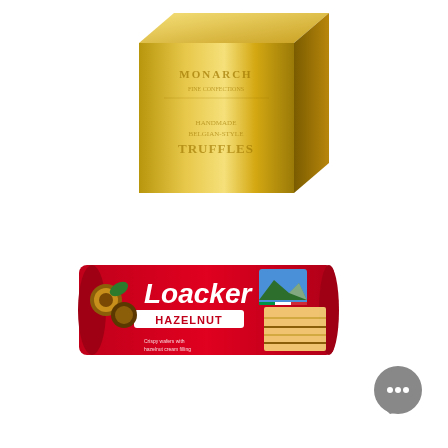[Figure (photo): Gold metallic tin box of Monarch Fine Confections Belgian-style Truffles, shown at a slight angle with embossed text.]
[Figure (photo): Loacker Hazelnut wafer bar in red packaging, 175g / 6.17oz, with hazelnut imagery and wafer product photo on the package. A gray chat bubble icon with three dots appears to the lower right.]